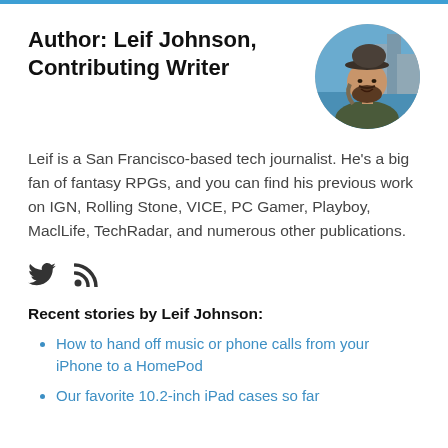Author: Leif Johnson, Contributing Writer
[Figure (photo): Circular headshot photo of Leif Johnson, a bearded man wearing a cap, with a cityscape and water in the background.]
Leif is a San Francisco-based tech journalist. He's a big fan of fantasy RPGs, and you can find his previous work on IGN, Rolling Stone, VICE, PC Gamer, Playboy, MaclLife, TechRadar, and numerous other publications.
[Figure (other): Social media icons: Twitter bird icon and RSS feed icon]
Recent stories by Leif Johnson:
How to hand off music or phone calls from your iPhone to a HomePod
Our favorite 10.2-inch iPad cases so far